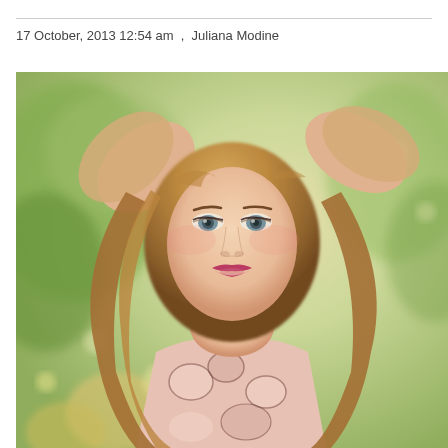17 October, 2013 12:54 am  ,  Juliana Modine
[Figure (photo): A young woman with long wavy auburn/blonde hair poses outdoors in a floral patterned dress with sheer lace details. She holds her hands behind her head, looking directly at the camera. The background is a soft-focus natural setting with green foliage and golden grasses. The image has a warm, sun-drenched editorial fashion feel.]